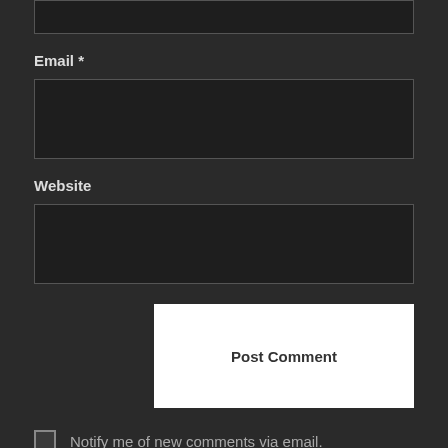[Figure (screenshot): Top portion of a partially visible input field (cut off at top of page)]
Email *
[Figure (screenshot): Email input text field, dark background, empty]
Website
[Figure (screenshot): Website input text field, dark background, empty]
[Figure (screenshot): Post Comment button, white background with bold dark text]
Notify me of new comments via email.
Notify me of new posts via email.